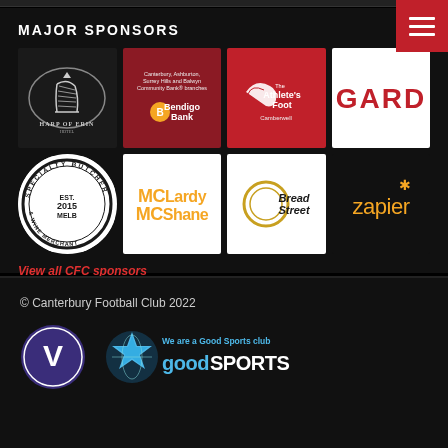MAJOR SPONSORS
[Figure (logo): Grid of 8 major sponsor logos: Harp of Erin Hotel, Bendigo Bank (Canterbury Ashburton Surrey Hills & Balwyn Community Bank branches), The Athlete's Foot Camberwell, GARD, Specialty Butcher Est. 2015 Melb & Wine Merchant, McLardy McShane, Bread Street, Zapier]
View all CFC sponsors
© Canterbury Football Club 2022
[Figure (logo): Victoria Football League V logo (blue circular emblem) and Good Sports club logo (We are a Good Sports club - goodSPORTS)]